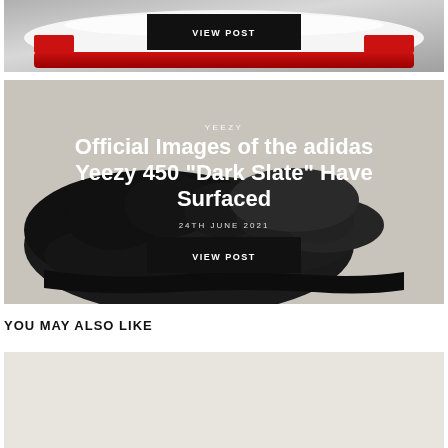[Figure (photo): Partial view of a white and red sneaker (Nike Dunk style) with a 'VIEW POST' button overlay on a dark background, top portion of a blog post card.]
[Figure (photo): Adidas Yeezy 450 Dark Slate sneaker in black, displayed on a light grey/beige background. Text overlay includes category 'YEEZY', title 'Official Images of the adidas Yeezy 450 Dark Slate Have Surfaced', date '24TH JUNE 2021', and a 'VIEW POST' button.]
YOU MAY ALSO LIKE
[Figure (photo): Partial view of another sneaker blog post card at the bottom of the page, light beige/grey background.]